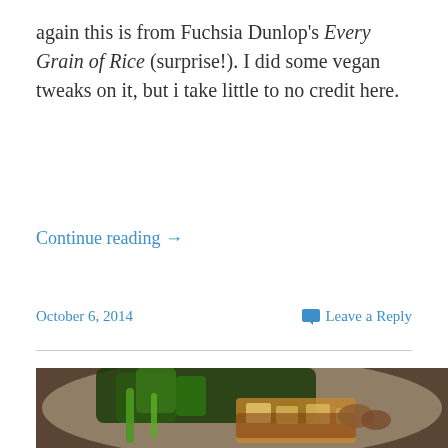again this is from Fuchsia Dunlop's Every Grain of Rice (surprise!). I did some vegan tweaks on it, but i take little to no credit here.
Continue reading →
October 6, 2014
Leave a Reply
[Figure (photo): Photo of a plate with cooked Asian greens (gai lan/Chinese broccoli) and braised tofu with sauce, served in a ceramic bowl with brown rim, on a wooden surface.]